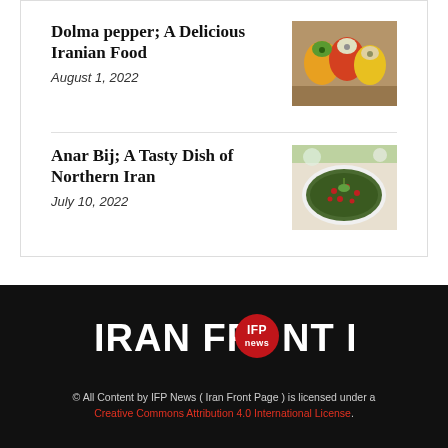Dolma pepper; A Delicious Iranian Food
August 1, 2022
[Figure (photo): Colorful stuffed bell peppers (dolma) on a wooden surface]
Anar Bij; A Tasty Dish of Northern Iran
July 10, 2022
[Figure (photo): A bowl of Anar Bij stew with pomegranate seeds and herbs]
[Figure (logo): Iran Front Page (IFP News) logo — white bold text with red circular IFP News badge]
© All Content by IFP News ( Iran Front Page ) is licensed under a Creative Commons Attribution 4.0 International License.